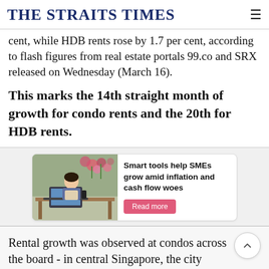THE STRAITS TIMES
cent, while HDB rents rose by 1.7 per cent, according to flash figures from real estate portals 99.co and SRX released on Wednesday (March 16).
This marks the 14th straight month of growth for condo rents and the 20th for HDB rents.
[Figure (infographic): Advertisement banner: Smart tools help SMEs grow amid inflation and cash flow woes. Shows a person working with a laptop in a flower shop. Pink 'Read more' button.]
Rental growth was observed at condos across the board - in central Singapore, the city fringes and